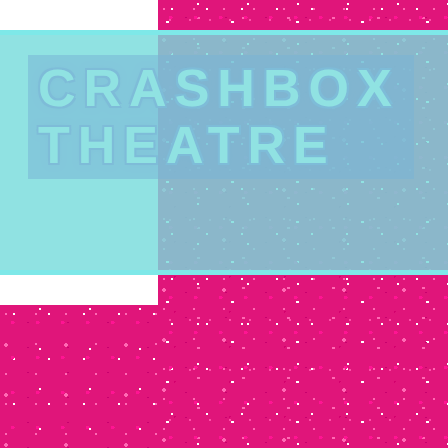[Figure (illustration): Website header screenshot for Crashbox Theatre. Features a teal/cyan horizontal band across the top portion with the text 'CRASHBOX THEATRE' in bold white letters with purple outline on a semi-transparent purple background. A hamburger menu icon (three horizontal lines) is displayed in a white rounded rectangle with purple border in the top right. The majority of the page is covered with a hot pink glitter texture background.]